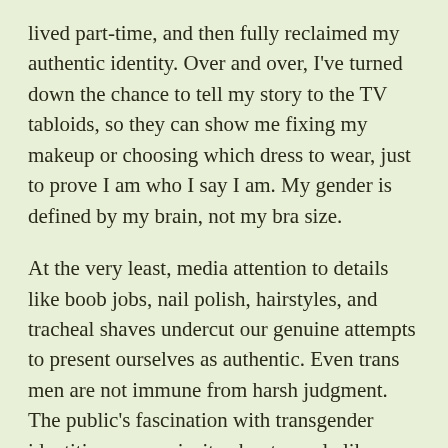lived part-time, and then fully reclaimed my authentic identity. Over and over, I've turned down the chance to tell my story to the TV tabloids, so they can show me fixing my makeup or choosing which dress to wear, just to prove I am who I say I am. My gender is defined by my brain, not my bra size.
At the very least, media attention to details like boob jobs, nail polish, hairstyles, and tracheal shaves undercut our genuine attempts to present ourselves as authentic. Even trans men are not immune from harsh judgment. The public's fascination with transgender identities — a curiosity about people like Jenner — drives gossip, sells papers, and draws page views.